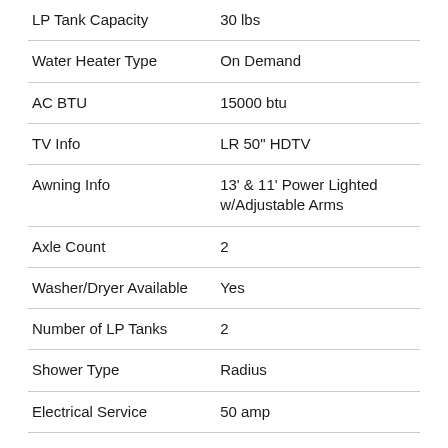| Feature | Value |
| --- | --- |
| LP Tank Capacity | 30 lbs |
| Water Heater Type | On Demand |
| AC BTU | 15000 btu |
| TV Info | LR 50" HDTV |
| Awning Info | 13' & 11' Power Lighted w/Adjustable Arms |
| Axle Count | 2 |
| Washer/Dryer Available | Yes |
| Number of LP Tanks | 2 |
| Shower Type | Radius |
| Electrical Service | 50 amp |
Similar Travel Trailer Floorplans
Rear Living Area